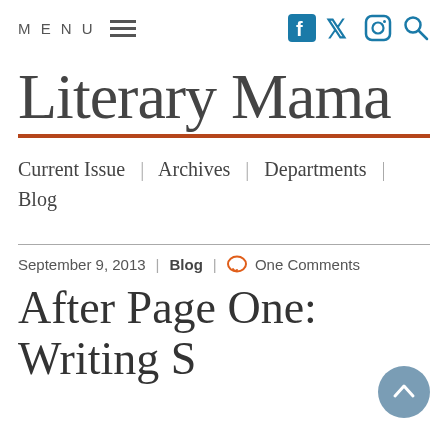MENU
Literary Mama
Current Issue | Archives | Departments | Blog
September 9, 2013 | Blog | One Comments
After Page One: